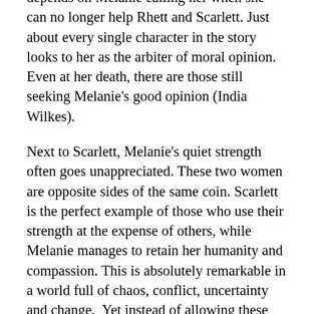depends on Melanie calling her when she can no longer help Rhett and Scarlett. Just about every single character in the story looks to her as the arbiter of moral opinion. Even at her death, there are those still seeking Melanie's good opinion (India Wilkes).
Next to Scarlett, Melanie's quiet strength often goes unappreciated. These two women are opposite sides of the same coin. Scarlett is the perfect example of those who use their strength at the expense of others, while Melanie manages to retain her humanity and compassion. This is absolutely remarkable in a world full of chaos, conflict, uncertainty and change.  Yet instead of allowing these things to change or distort her character, Melanie rises above it all, remaining consistent in her kindness, patient hope, and long-suffering.
Melanie is the type of person the world often overlooks, because she goes about her life without fanfare, living